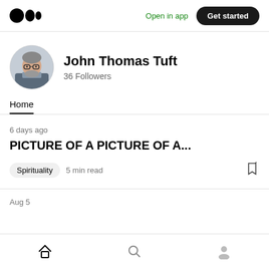Medium logo | Open in app | Get started
[Figure (photo): Circular profile photo of John Thomas Tuft, an older man with glasses and gray beard]
John Thomas Tuft
36 Followers
Home
6 days ago
PICTURE OF A PICTURE OF A...
Spirituality  5 min read
Aug 5
Home | Search | Profile